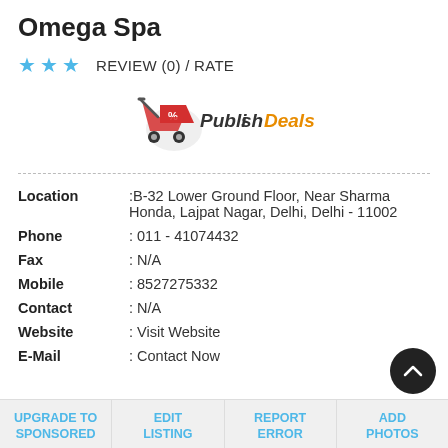Omega Spa
★ ★ ★   REVIEW (0) / RATE
[Figure (logo): Publish Deals logo with shopping cart icon]
| Location | :B-32 Lower Ground Floor, Near Sharma Honda, Lajpat Nagar, Delhi, Delhi - 11002 |
| Phone | : 011 - 41074432 |
| Fax | : N/A |
| Mobile | : 8527275332 |
| Contact | : N/A |
| Website | : Visit Website |
| E-Mail | : Contact Now |
UPGRADE TO SPONSORED | EDIT LISTING | REPORT ERROR | ADD PHOTOS